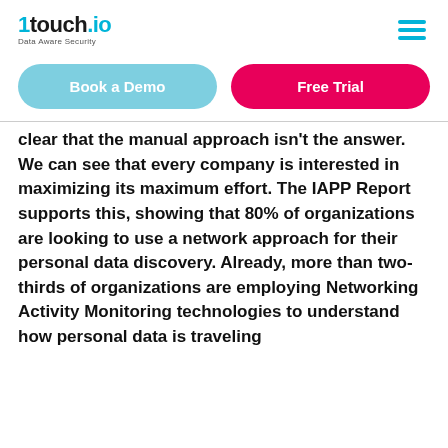1touch.io Data Aware Security
[Figure (logo): 1touch.io logo with tagline 'Data Aware Security' and hamburger menu icon]
[Figure (other): Two buttons: 'Book a Demo' (light blue, pill-shaped) and 'Free Trial' (pink/magenta, pill-shaped)]
clear that the manual approach isn't the answer. We can see that every company is interested in maximizing its maximum effort. The IAPP Report supports this, showing that 80% of organizations are looking to use a network approach for their personal data discovery. Already, more than two-thirds of organizations are employing Networking Activity Monitoring technologies to understand how personal data is traveling